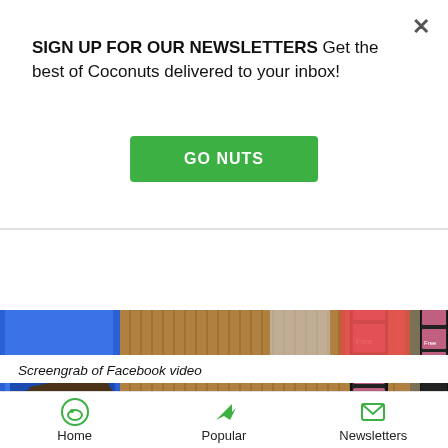SIGN UP FOR OUR NEWSLETTERS Get the best of Coconuts delivered to your inbox!
GO NUTS
[Figure (photo): Screengrab of a Facebook video showing people at what appears to be a market stall with product displays and backpacks]
Screengrab of Facebook video
By Coconuts Hong Kong
Home  Popular  Newsletters